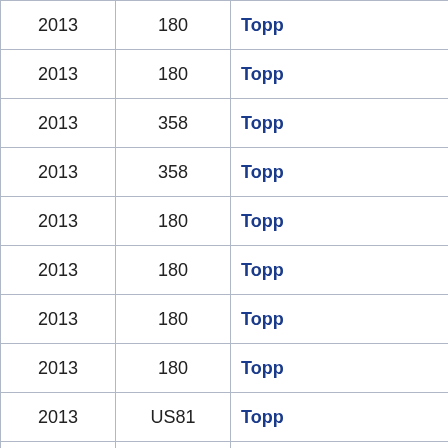| Year | Amount | Name |
| --- | --- | --- |
| 2013 | 180 | Topp… |
| 2013 | 180 | Topp… |
| 2013 | 358 | Topp… |
| 2013 | 358 | Topp… |
| 2013 | 180 | Topp… |
| 2013 | 180 | Topp… |
| 2013 | 180 | Topp… |
| 2013 | 180 | Topp… |
| 2013 | US81 | Topp… |
| 2013 | US81 | Topp… |
| 2013 | US81 | Topp… |